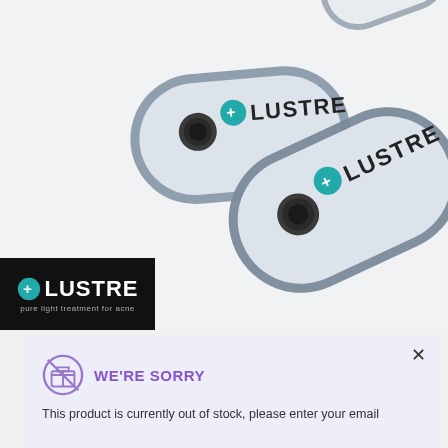[Figure (photo): Two white oval Lustre acne light therapy devices with grey borders and teal plus logo, shown on light grey background. A black banner with the Lustre logo and tagline 'pure light treatment for acne' is overlaid at bottom-left of the product image.]
WE'RE SORRY
This product is currently out of stock, please enter your email